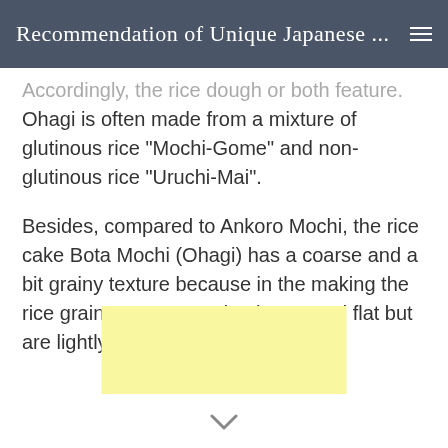Recommendation of Unique Japanese ...
Accordingly, the rice dough or both feature. Ohagi is often made from a mixture of glutinous rice “Mochi-Gome” and non-glutinous rice “Uruchi-Mai”.
Besides, compared to Ankoro Mochi, the rice cake Bota Mochi (Ohagi) has a coarse and a bit grainy texture because in the making the rice grains aren’t completely pressed flat but are lightly pounded.
[Figure (other): Yellow advertisement or banner placeholder box]